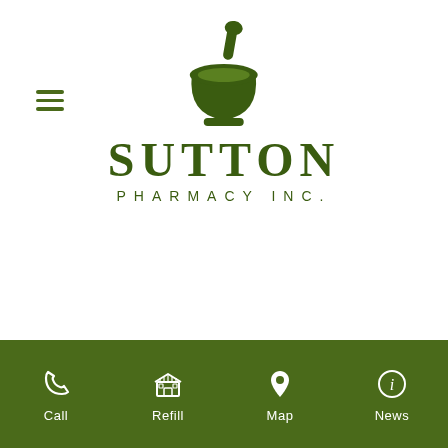[Figure (logo): Sutton Pharmacy Inc. logo with mortar and pestle icon above the text SUTTON PHARMACY INC. in dark green]
[Figure (other): Hamburger menu icon (three horizontal lines) in dark green on the left side]
[Figure (infographic): Bottom navigation bar with four items: Call (phone icon), Refill (store icon), Map (location pin icon), News (info icon) on dark olive green background]